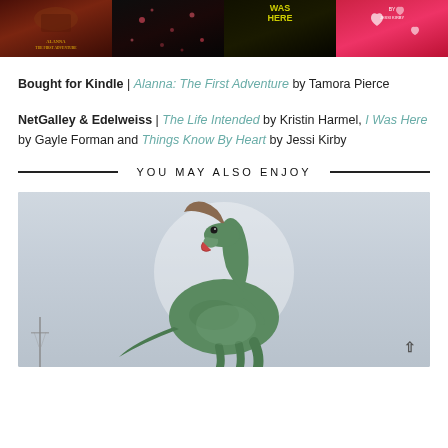[Figure (photo): Four book covers in a horizontal strip: Alanna: The First Adventure (dark red/brown), The Life Intended (dark with bokeh lights), I Was Here (dark/yellow text), Things Know By Heart (pink/red with hearts)]
Bought for Kindle | Alanna: The First Adventure by Tamora Pierce
NetGalley & Edelweiss | The Life Intended by Kristin Harmel, I Was Here by Gayle Forman and Things Know By Heart by Jessi Kirby
YOU MAY ALSO ENJOY
[Figure (photo): A large dinosaur (hadrosaur/parasaurolophus) statue or model photographed outdoors against a cloudy sky with a large white circular element in the background. A utility pole is visible at bottom left.]